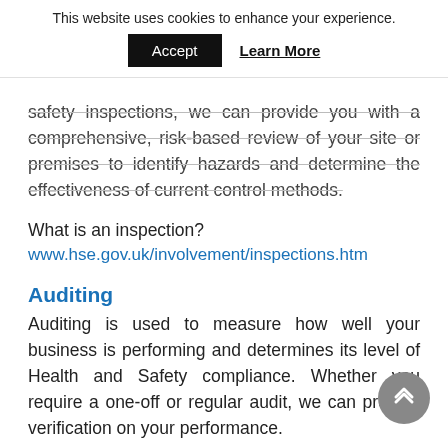This website uses cookies to enhance your experience.
Accept | Learn More
safety inspections, we can provide you with a comprehensive, risk-based review of your site or premises to identify hazards and determine the effectiveness of current control methods.
What is an inspection?
www.hse.gov.uk/involvement/inspections.htm
Auditing
Auditing is used to measure how well your business is performing and determines its level of Health and Safety compliance. Whether you require a one-off or regular audit, we can provide verification on your performance.
What is an audit?